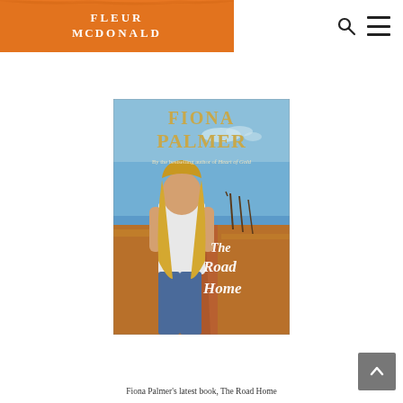Fleur McDonald website header with logo and navigation icons
[Figure (illustration): Book cover of 'The Road Home' by Fiona Palmer. Features a blonde woman in a white tank top and jeans standing on a red dirt outback road under a blue sky. Text reads: FIONA PALMER, By the bestselling author of Heart of Gold, The Road Home]
Fiona Palmer's latest book, The Road Home